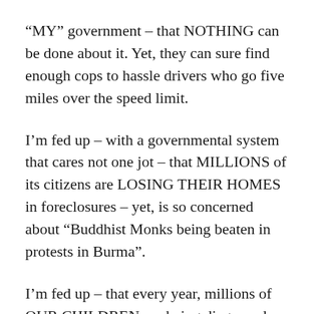“MY” government – that NOTHING can be done about it. Yet, they can sure find enough cops to hassle drivers who go five miles over the speed limit.
I’m fed up – with a governmental system that cares not one jot – that MILLIONS of its citizens are LOSING THEIR HOMES in foreclosures – yet, is so concerned about “Buddhist Monks being beaten in protests in Burma”.
I’m fed up – that every year, millions of OUR CHILDREN are being diagnosed with